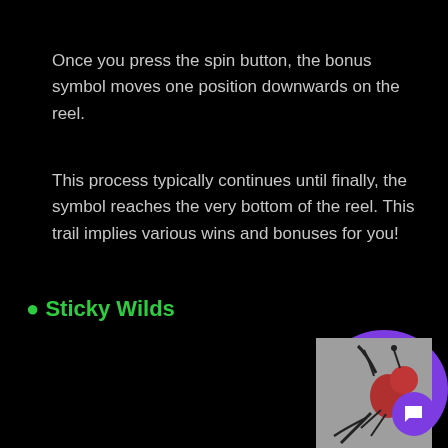Once you press the spin button, the bonus symbol moves one position downwards on the reel.
This process typically continues until finally, the symbol reaches the very bottom of the reel. This trail implies various wins and bonuses for you!
• Sticky Wilds
[Figure (illustration): A stylized cartoon-like illustration of a fly or insect with a red rounded body/head on a grey background]